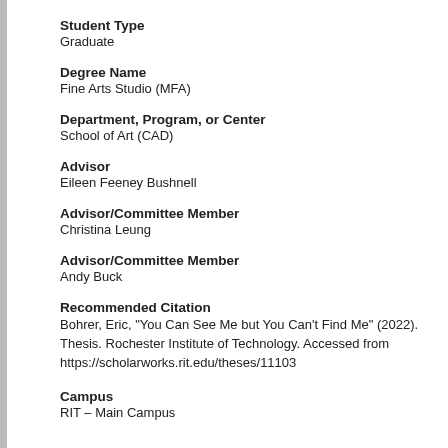Student Type
Graduate
Degree Name
Fine Arts Studio (MFA)
Department, Program, or Center
School of Art (CAD)
Advisor
Eileen Feeney Bushnell
Advisor/Committee Member
Christina Leung
Advisor/Committee Member
Andy Buck
Recommended Citation
Bohrer, Eric, "You Can See Me but You Can't Find Me" (2022). Thesis. Rochester Institute of Technology. Accessed from https://scholarworks.rit.edu/theses/11103
Campus
RIT – Main Campus